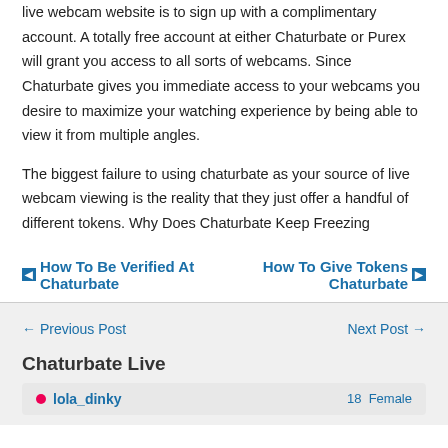live webcam website is to sign up with a complimentary account. A totally free account at either Chaturbate or Purex will grant you access to all sorts of webcams. Since Chaturbate gives you immediate access to your webcams you desire to maximize your watching experience by being able to view it from multiple angles.
The biggest failure to using chaturbate as your source of live webcam viewing is the reality that they just offer a handful of different tokens. Why Does Chaturbate Keep Freezing
◄ How To Be Verified At Chaturbate    How To Give Tokens Chaturbate ►
← Previous Post    Next Post →
Chaturbate Live
● lola_dinky    18  Female